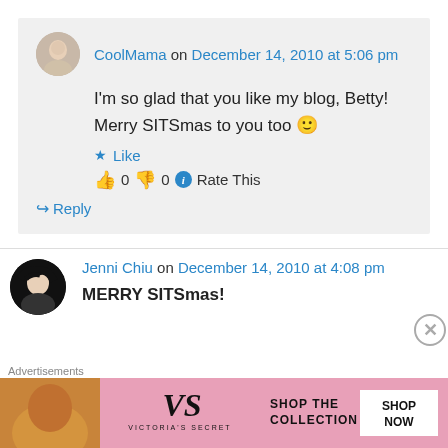CoolMama on December 14, 2010 at 5:06 pm
I'm so glad that you like my blog, Betty! Merry SITSmas to you too 🙂
★ Like
👍 0 👎 0 ℹ Rate This
↪ Reply
Jenni Chiu on December 14, 2010 at 4:08 pm
MERRY SITSmas!
Advertisements
[Figure (other): Victoria's Secret advertisement banner: SHOP THE COLLECTION, SHOP NOW]